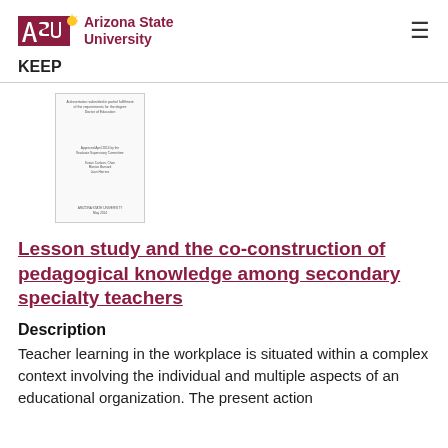Arizona State University | KEEP
[Figure (screenshot): Thumbnail preview of a document title page]
Lesson study and the co-construction of pedagogical knowledge among secondary specialty teachers
Description
Teacher learning in the workplace is situated within a complex context involving the individual and multiple aspects of an educational organization. The present action